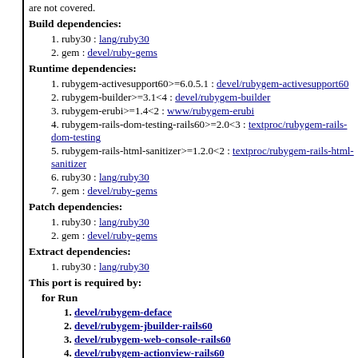are not covered.
Build dependencies:
1. ruby30 : lang/ruby30
2. gem : devel/ruby-gems
Runtime dependencies:
1. rubygem-activesupport60>=6.0.5.1 : devel/rubygem-activesupport60
2. rubygem-builder>=3.1<4 : devel/rubygem-builder
3. rubygem-erubi>=1.4<2 : www/rubygem-erubi
4. rubygem-rails-dom-testing-rails60>=2.0<3 : textproc/rubygem-rails-dom-testing
5. rubygem-rails-html-sanitizer>=1.2.0<2 : textproc/rubygem-rails-html-sanitizer
6. ruby30 : lang/ruby30
7. gem : devel/ruby-gems
Patch dependencies:
1. ruby30 : lang/ruby30
2. gem : devel/ruby-gems
Extract dependencies:
1. ruby30 : lang/ruby30
This port is required by:
for Run
1. devel/rubygem-deface
2. devel/rubygem-jbuilder-rails60
3. devel/rubygem-web-console-rails60
4. (truncated)